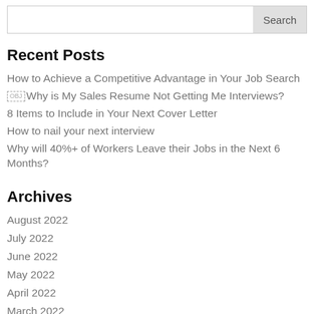Recent Posts
How to Achieve a Competitive Advantage in Your Job Search
Why is My Sales Resume Not Getting Me Interviews?
8 Items to Include in Your Next Cover Letter
How to nail your next interview
Why will 40%+ of Workers Leave their Jobs in the Next 6 Months?
Archives
August 2022
July 2022
June 2022
May 2022
April 2022
March 2022